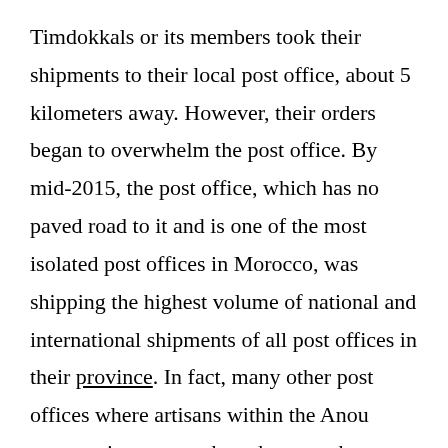Timdokkals or its members took their shipments to their local post office, about 5 kilometers away. However, their orders began to overwhelm the post office. By mid-2015, the post office, which has no paved road to it and is one of the most isolated post offices in Morocco, was shipping the highest volume of national and international shipments of all post offices in their province. In fact, many other post offices where artisans within the Anou community operate, have become the highest volume shippers in their respective provinces as well. Even better, because of these shipments, some post offices have become cash flow positive for the first time since they